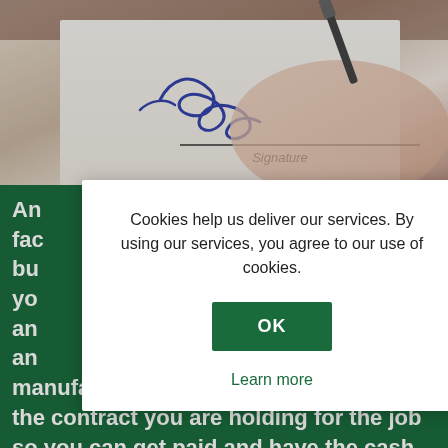[Figure (photo): Close-up photo of a person signing a document with a pen, showing a signature line with the word 'Signature' printed below the signature.]
An... fac... bu... yo... b an... an... manufacturer will give you. You can sell the contract you are holding for the job so you can get paid and have the cash flow to survive. Some of you would say go to the bank. A lot of banks will loan money to people who don't need the money, the people that need the money don't always get it. So, factoring in a
Cookies help us deliver our services. By using our services, you agree to our use of cookies.
OK
Learn more